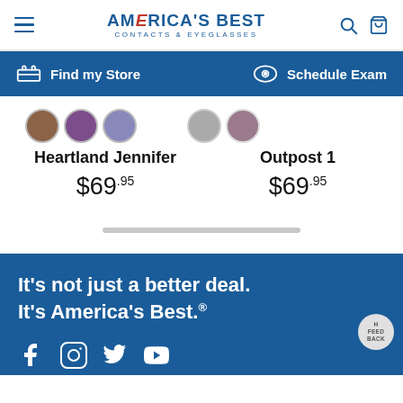America's Best Contacts & Eyeglasses — navigation header
Find my Store   Schedule Exam
Heartland Jennifer $69.95
Outpost 1 $69.95
It's not just a better deal. It's America's Best.®
[Figure (screenshot): Social media icons row at bottom of page (Facebook, Instagram, Twitter/X, YouTube)]